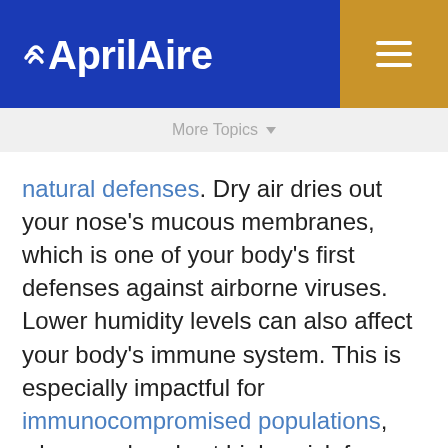AprilAire
More Topics
natural defenses. Dry air dries out your nose's mucous membranes, which is one of your body's first defenses against airborne viruses. Lower humidity levels can also affect your body's immune system. This is especially impactful for immunocompromised populations, who are already at higher risk for airborne viruses like COVID-19.